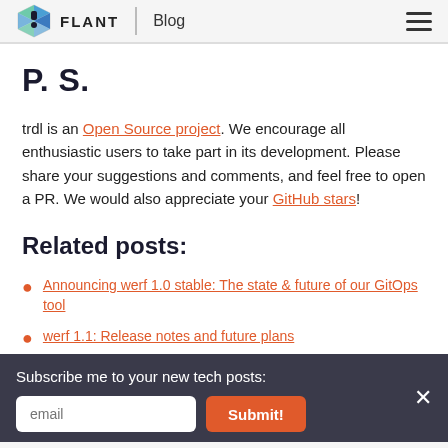FLANT | Blog
P. S.
trdl is an Open Source project. We encourage all enthusiastic users to take part in its development. Please share your suggestions and comments, and feel free to open a PR. We would also appreciate your GitHub stars!
Related posts:
Announcing werf 1.0 stable: The state & future of our GitOps tool
werf 1.1: Release notes and future plans
Subscribe me to your new tech posts: